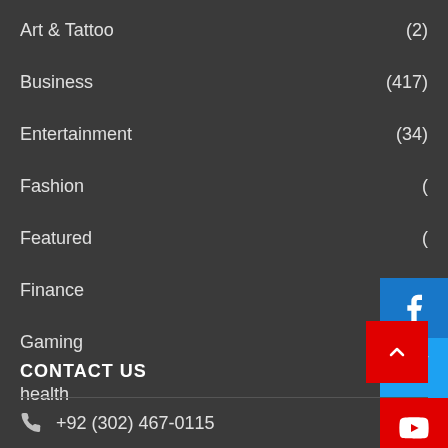Art & Tattoo (2)
Business (417)
Entertainment (34)
Fashion
Featured
Finance
Gaming
health
[Figure (other): Social media icons sidebar: Facebook (blue), Twitter (light blue), YouTube (red), Instagram (steel blue), displayed as vertical icon buttons on the right edge]
CONTACT US
+92 (302) 467-0115